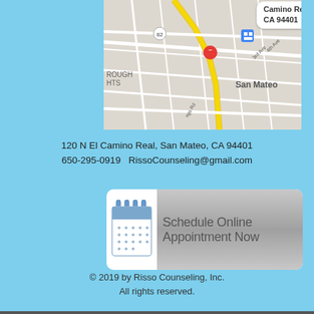[Figure (map): Google Maps screenshot showing location at 120 N El Camino Real, San Mateo, CA 94401 with red pin marker and street map of San Mateo area]
120 N El Camino Real, San Mateo, CA 94401
650-295-0919  RissoCounseling@gmail.com
[Figure (illustration): Schedule Online Appointment Now button with calendar icon on left and grey gradient button with text on right]
© 2019 by Risso Counseling, Inc.
All rights reserved.